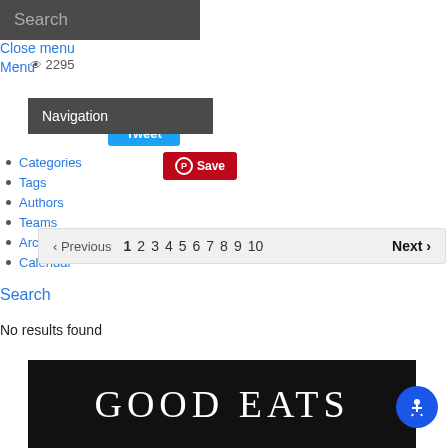Search
Close menu
Menu
👁 2295
Navigation
Categories
Tags
Authors
Teams
Archives
Calendar
[Figure (screenshot): Social share buttons: Facebook, Tweet (Twitter blue), Save (Pinterest red)]
[Figure (screenshot): Pagination bar showing: Previous, 1 2 3 4 5 6 7 8 9 10, Next]
Search
No results found
[Figure (photo): Dark banner image with white serif text reading 'GOOD EATS']